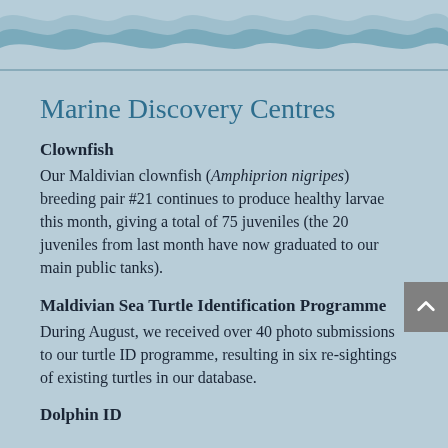[Figure (illustration): Decorative wave header with light blue ocean wave shapes on a darker blue background]
Marine Discovery Centres
Clownfish
Our Maldivian clownfish (Amphiprion nigripes) breeding pair #21 continues to produce healthy larvae this month, giving a total of 75 juveniles (the 20 juveniles from last month have now graduated to our main public tanks).
Maldivian Sea Turtle Identification Programme
During August, we received over 40 photo submissions to our turtle ID programme, resulting in six re-sightings of existing turtles in our database.
Dolphin ID